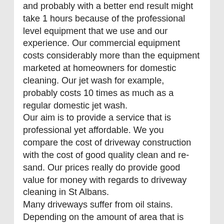and probably with a better end result might take 1 hours because of the professional level equipment that we use and our experience. Our commercial equipment costs considerably more than the equipment marketed at homeowners for domestic cleaning. Our jet wash for example, probably costs 10 times as much as a regular domestic jet wash.
Our aim is to provide a service that is professional yet affordable. We you compare the cost of driveway construction with the cost of good quality clean and re-sand. Our prices really do provide good value for money with regards to driveway cleaning in St Albans.
Many driveways suffer from oil stains. Depending on the amount of area that is stained. The suggested solution for driveway cleaning might vary. Some products for removing oil stains can be quite costly and time consuming to use.
Most of our customers are busy people with many things going on in their lives which they would rather focus on other than cleaning their driveway. Our Driveway Cleaning Hertfordshire enables them to focus on more important things while we transform their St Albans driveway.